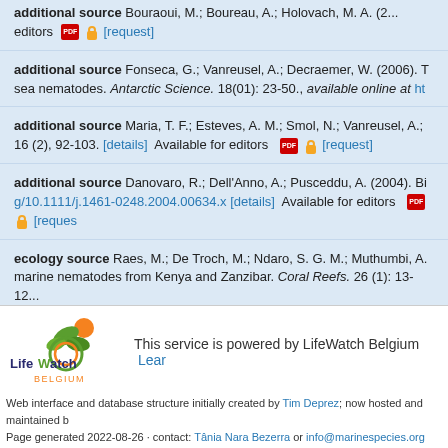additional source Bouraoui, M.; Boureau, A.; Holovach, M. A. (2...) editors [request]
additional source Fonseca, G.; Vanreusel, A.; Decraemer, W. (2006). T... sea nematodes. Antarctic Science. 18(01): 23-50., available online at ht...
additional source Maria, T. F.; Esteves, A. M.; Smol, N.; Vanreusel, A.;... 16 (2), 92-103. [details] Available for editors [request]
additional source Danovaro, R.; Dell'Anno, A.; Pusceddu, A. (2004). Bi... g/10.1111/j.1461-0248.2004.00634.x [details] Available for editors [request]
ecology source Raes, M.; De Troch, M.; Ndaro, S. G. M.; Muthumbi, A.... marine nematodes from Kenya and Zanzibar. Coral Reefs. 26 (1): 13-12...
[Figure (logo): LifeWatch Belgium logo with orange and green leaf/fruit design]
This service is powered by LifeWatch Belgium  Learn...
Web interface and database structure initially created by Tim Deprez; now hosted and maintained b... Page generated 2022-08-26 · contact: Tânia Nara Bezerra or info@marinespecies.org